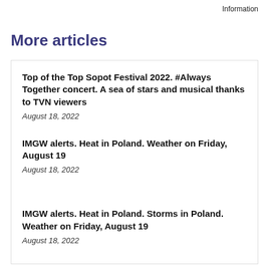Information
More articles
Top of the Top Sopot Festival 2022. #Always Together concert. A sea of stars and musical thanks to TVN viewers
August 18, 2022
IMGW alerts. Heat in Poland. Weather on Friday, August 19
August 18, 2022
IMGW alerts. Heat in Poland. Storms in Poland. Weather on Friday, August 19
August 18, 2022